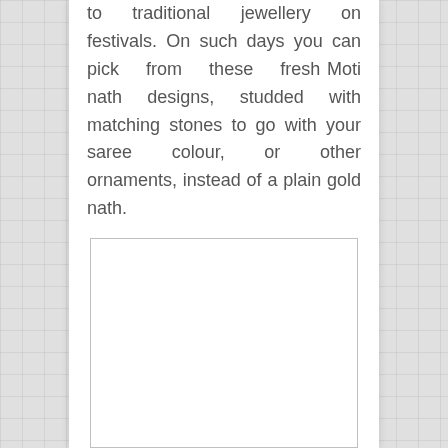to traditional jewellery on festivals. On such days you can pick from these fresh Moti nath designs, studded with matching stones to go with your saree colour, or other ornaments, instead of a plain gold nath.
[Figure (photo): Empty white image box with a light gray border, representing a placeholder for a photograph.]